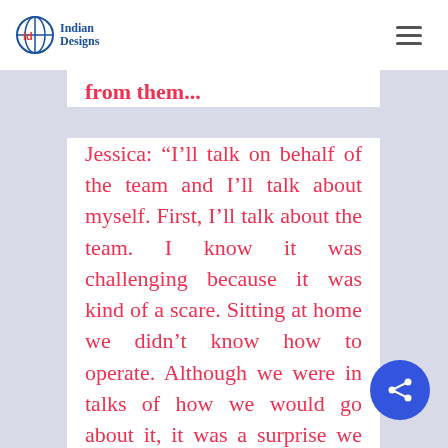id Indian Designs
from them...
Jessica: “I’ll talk on behalf of the team and I’ll talk about myself. First, I’ll talk about the team. I know it was challenging because it was kind of a scare. Sitting at home we didn’t know how to operate. Although we were in talks of how we would go about it, it was a surprise we were not prepared for when it actually came down to it. The biggest challenge was how do we get the data online because we were still